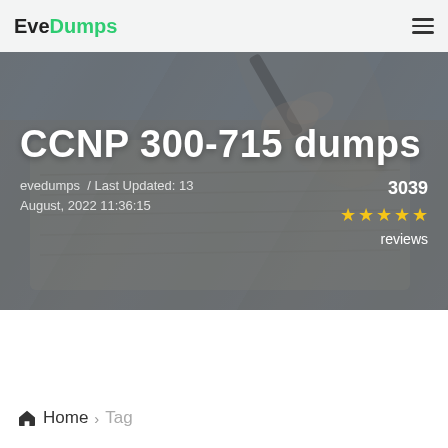EveDumps
CCNP 300-715 dumps
evedumps / Last Updated: 13 August, 2022 11:36:15
3039 reviews
Home > Tag